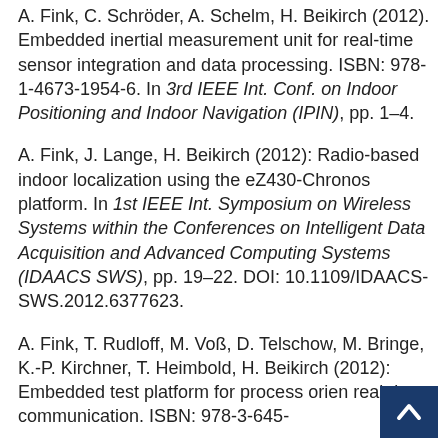A. Fink, C. Schröder, A. Schelm, H. Beikirch (2012). Embedded inertial measurement unit for real-time sensor integration and data processing. ISBN: 978-1-4673-1954-6. In 3rd IEEE Int. Conf. on Indoor Positioning and Indoor Navigation (IPIN), pp. 1–4.
A. Fink, J. Lange, H. Beikirch (2012): Radio-based indoor localization using the eZ430-Chronos platform. In 1st IEEE Int. Symposium on Wireless Systems within the Conferences on Intelligent Data Acquisition and Advanced Computing Systems (IDAACS SWS), pp. 19–22. DOI: 10.1109/IDAACS-SWS.2012.6377623.
A. Fink, T. Rudloff, M. Voß, D. Telschow, M. Bringe, K.-P. Kirchner, T. Heimbold, H. Beikirch (2012): Embedded test platform for process orien real-time communication. ISBN: 978-3-645-